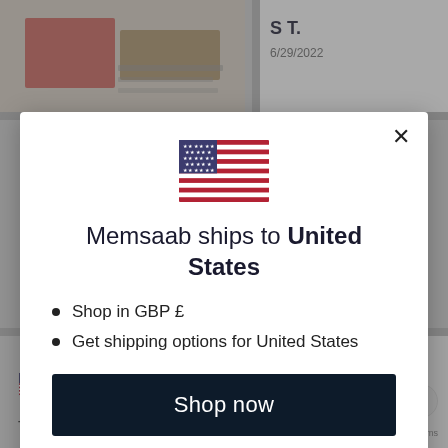[Figure (screenshot): Background webpage showing product listing with name 'S T.' dated 6/29/2022, USD currency selector, and partial review text 'Thankyou, I wish']
[Figure (illustration): US flag emoji/icon centered in modal dialog]
Memsaab ships to United States
Shop in GBP £
Get shipping options for United States
Shop now
Change shipping country